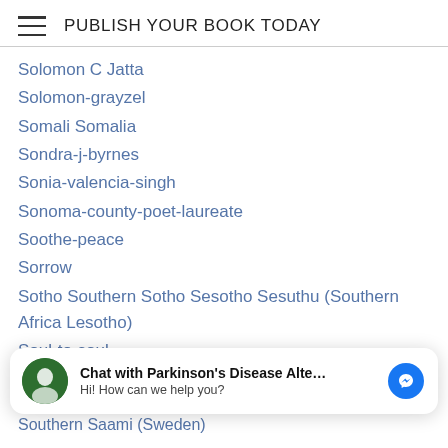PUBLISH YOUR BOOK TODAY
Solomon C Jatta
Solomon-grayzel
Somali Somalia
Sondra-j-byrnes
Sonia-valencia-singh
Sonoma-county-poet-laureate
Soothe-peace
Sorrow
Sotho Southern Sotho Sesotho Sesuthu (Southern Africa Lesotho)
Soul-to-soul
Sound Therapies
Sour
[Figure (screenshot): Chat widget: avatar with green circle logo, bold text 'Chat with Parkinson's Disease Alte...' and subtitle 'Hi! How can we help you?', with blue Messenger icon on right]
Southern Saami (Sweden)